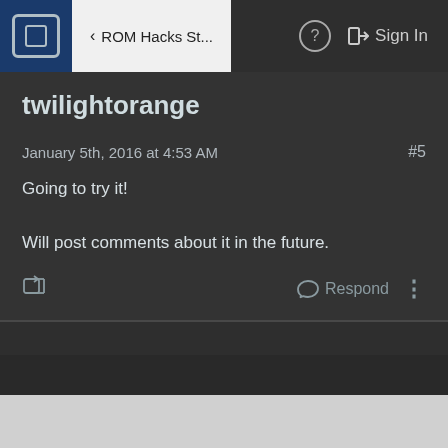ROM Hacks St...  Sign In
twilightorange
January 5th, 2016 at 4:53 AM  #5
Going to try it!

Will post comments about it in the future.
Respond